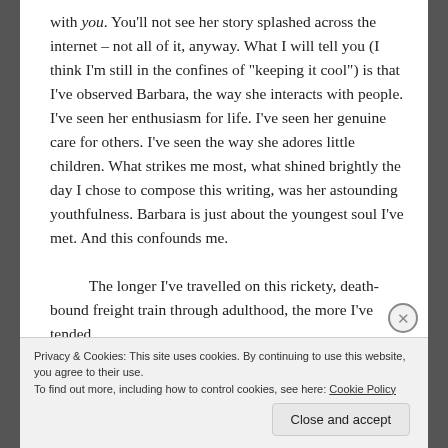with you. You'll not see her story splashed across the internet – not all of it, anyway. What I will tell you (I think I'm still in the confines of "keeping it cool") is that I've observed Barbara, the way she interacts with people. I've seen her enthusiasm for life. I've seen her genuine care for others. I've seen the way she adores little children. What strikes me most, what shined brightly the day I chose to compose this writing, was her astounding youthfulness. Barbara is just about the youngest soul I've met. And this confounds me.

    The longer I've travelled on this rickety, death-bound freight train through adulthood, the more I've tended
Privacy & Cookies: This site uses cookies. By continuing to use this website, you agree to their use.
To find out more, including how to control cookies, see here: Cookie Policy
Close and accept